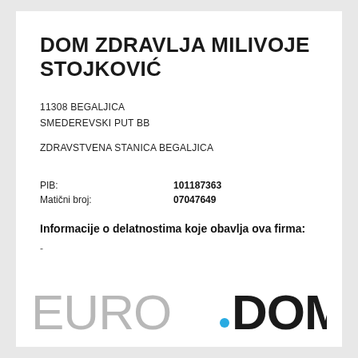DOM ZDRAVLJA MILIVOJE STOJKOVIĆ
11308 BEGALJICA
SMEDEREVSKI PUT BB
ZDRAVSTVENA STANICA BEGALJICA
| PIB: | 101187363 |
| Matični broj: | 07047649 |
Informacije o delatnostima koje obavlja ova firma:
[Figure (logo): EURODOM logo with EURO in light grey thin font and DOM in bold black, with a blue dot before DOM]